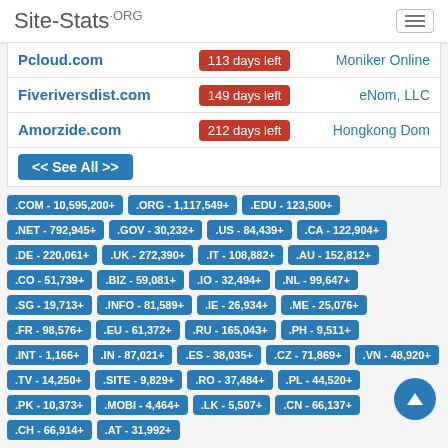Site-Stats.ORG
| Domain | Days Left | Registrar |
| --- | --- | --- |
| Pcloud.com | 113 days left | Moniker Online |
| Fiveriversdist.com | 149 days left | eNom, LLC |
| Amorzide.com | 212 days left | Hongkong Dom |
<< See All >>
.COM - 10,595,200+
.ORG - 1,117,549+
.EDU - 123,500+
.NET - 792,945+
.GOV - 30,232+
.US - 84,439+
.CA - 122,904+
.DE - 220,061+
.UK - 272,390+
.IT - 108,882+
.AU - 152,812+
.CO - 51,739+
.BIZ - 59,081+
.IO - 32,494+
.NL - 99,647+
.SG - 19,713+
.INFO - 81,589+
.IE - 26,934+
.ME - 25,076+
.FR - 98,576+
.EU - 61,372+
.RU - 165,043+
.PH - 9,511+
.INT - 1,166+
.IN - 87,021+
.ES - 38,035+
.CZ - 71,869+
.VN - 48,920+
.TV - 14,250+
.SITE - 9,829+
.RO - 37,484+
.PL - 44,520+
.PK - 10,373+
.MOBI - 4,464+
.LK - 5,507+
.CN - 66,137+
.CH - 66,914+
.AT - 31,992+
Email Address Search | IP Address Blacklist Check | Hosting Providers | Domain Providers | Website Error Checker